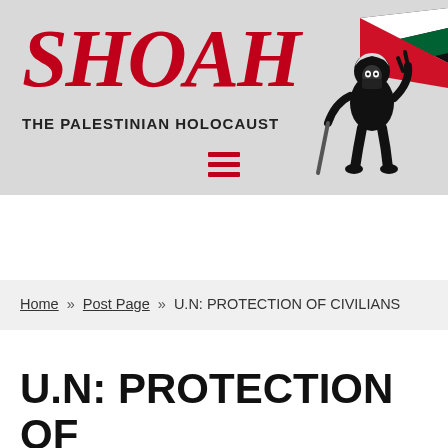SHOAH
THE PALESTINIAN HOLOCAUST
[Figure (illustration): Stylized black and white figure of a masked person making a peace sign, with a Palestinian flag waving behind them in red, green, black and white colors.]
Home » Post Page » U.N: PROTECTION OF CIVILIANS
U.N: PROTECTION OF